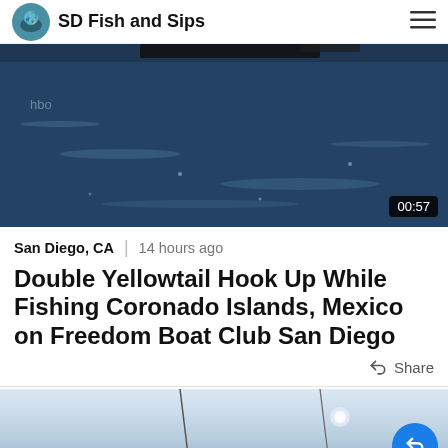SD Fish and Sips
[Figure (photo): Ocean water surface with a boat partially visible at top, blue water with light reflections. Duration badge shows 00:57.]
San Diego, CA | 14 hours ago
Double Yellowtail Hook Up While Fishing Coronado Islands, Mexico on Freedom Boat Club San Diego
Share
[Figure (photo): Partial view of a second video thumbnail showing sky and boat masts.]